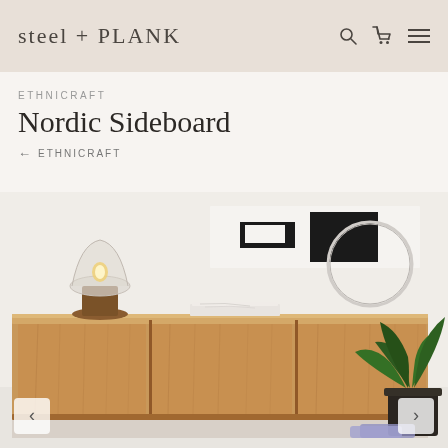STEEL + PLANK
ETHNICRAFT
Nordic Sideboard
← ETHNICRAFT
[Figure (photo): A wooden Nordic sideboard with three doors, a lamp with a wooden base, a marble tray, a circular mirror, a green plant, and shoes visible underneath. Interior design / lifestyle product photo.]